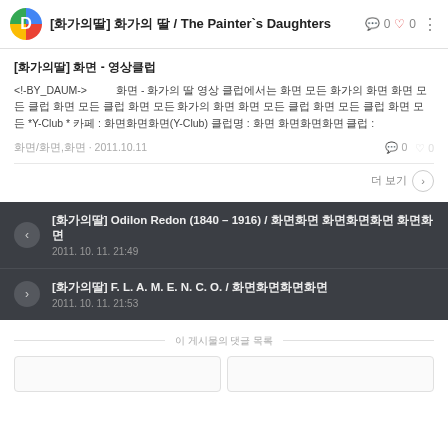[화가의 딸] 화가의 딸 / The Painter's Daughters  0  0
[화가의딸] 화면 - 영상클럽
<!-BY_DAUM->  화면 - 화가의 딸 영상 클럽에서는 화면 모든 화가의 화면 화면 모든 클럽 화면 모든 클럽 화면 모든 화가의 화면 화면 모든 클럽 화면 모든 클럽 화면 모든 *Y-Club * 카페 : 화면화면화면(Y-Club) 클럽명 : 화면 화면화면화면 클럽 :
화면/화면,화면 · 2011.10.11  0  0
더 보기
[화가의딸] Odilon Redon (1840 – 1916) / 화면화면 화면화면화면 화면화면
2011. 10. 11. 21:49
[화가의딸] F. L. A. M. E. N. C. O. / 화면화면화면화면
2011. 10. 11. 21:53
이 게시물의 댓글 목록
[Figure (other): Two bottom card placeholders]